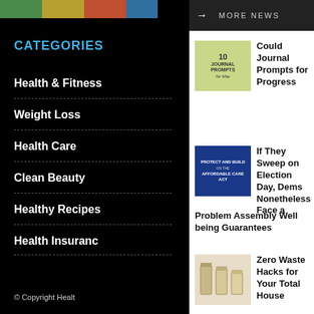[Figure (photo): Colorful food image strip at top of left sidebar]
CATEGORIES
Health & Fitness
Weight Loss
Health Care
Clean Beauty
Healthy Recipes
Health Insurance
© Copyright Healt
→  MORE NEWS
[Figure (photo): Green/olive book cover thumbnail with text 10 JOURNAL PROMPTS for May]
Could Journal Prompts for Progress
[Figure (photo): Blue political poster with text PROTECT AND BUILD on the AFFORDABLE CARE ACT]
If They Sweep on Election Day, Dems Nonetheless Face a Problem Assembly Well being Guarantees
[Figure (photo): Three glass jars with grains/food on white background]
Zero Waste Hacks for Your Total House